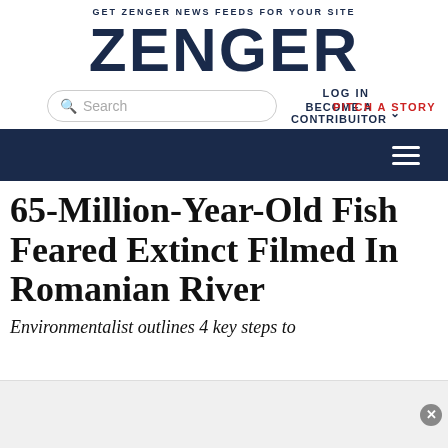GET ZENGER NEWS FEEDS FOR YOUR SITE
ZENGER
LOG IN   BECOME A CONTRIBUITOR   PITCH A STORY
[Figure (screenshot): Dark navy navigation bar with hamburger menu icon on the right]
65-Million-Year-Old Fish Feared Extinct Filmed In Romanian River
Environmentalist outlines 4 key steps to